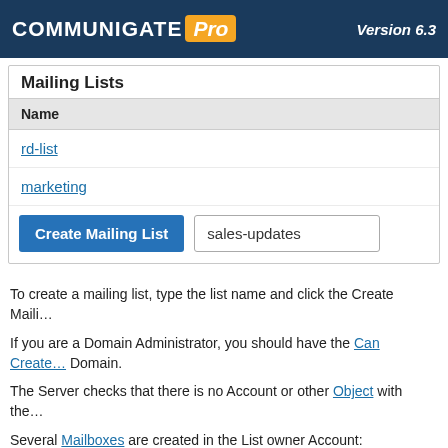CommuniGate Pro — Version 6.3
Mailing Lists
| Name |
| --- |
| rd-list |
| marketing |
To create a mailing list, type the list name and click the Create Maili…
If you are a Domain Administrator, you should have the Can Create… Domain.
The Server checks that there is no Account or other Object with the…
Several Mailboxes are created in the List owner Account:
listname   this Mailbox is the Mailing List archive: it c…